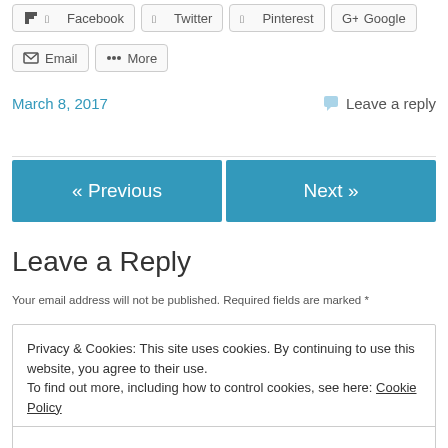[Figure (other): Social share buttons row 1: Facebook, Twitter, Pinterest, Google+]
[Figure (other): Social share buttons row 2: Email, More]
March 8, 2017
Leave a reply
Leave a Reply
Your email address will not be published. Required fields are marked *
Privacy & Cookies: This site uses cookies. By continuing to use this website, you agree to their use.
To find out more, including how to control cookies, see here: Cookie Policy
Close and accept